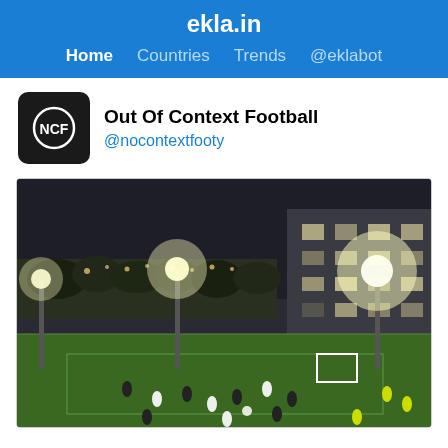ekla.in
Home  Countries  Trends  @eklabot
Out Of Context Football @nocontextfooty
[Figure (photo): Night-time aerial view of a floodlit outdoor football pitch with players visible on green turf, surrounded by street lights and a multi-storey building in the background]